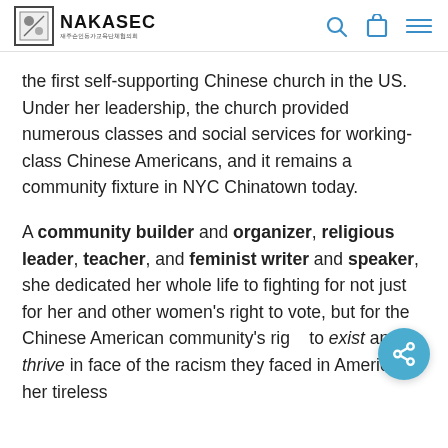NAKASEC
the first self-supporting Chinese church in the US. Under her leadership, the church provided numerous classes and social services for working-class Chinese Americans, and it remains a community fixture in NYC Chinatown today.
A community builder and organizer, religious leader, teacher, and feminist writer and speaker, she dedicated her whole life to fighting for not just for her and other women’s right to vote, but for the Chinese American community’s right to exist and thrive in face of the racism they faced in America; her tireless